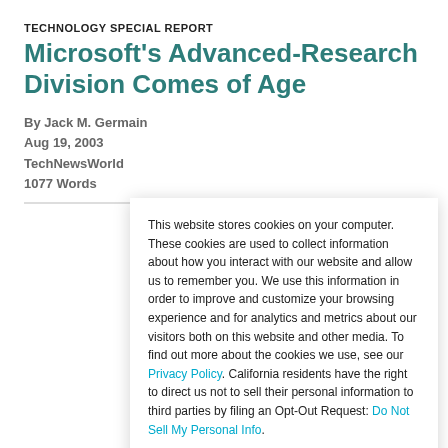TECHNOLOGY SPECIAL REPORT
Microsoft's Advanced-Research Division Comes of Age
By Jack M. Germain
Aug 19, 2003
TechNewsWorld
1077 Words
This website stores cookies on your computer. These cookies are used to collect information about how you interact with our website and allow us to remember you. We use this information in order to improve and customize your browsing experience and for analytics and metrics about our visitors both on this website and other media. To find out more about the cookies we use, see our Privacy Policy. California residents have the right to direct us not to sell their personal information to third parties by filing an Opt-Out Request: Do Not Sell My Personal Info.
Accept